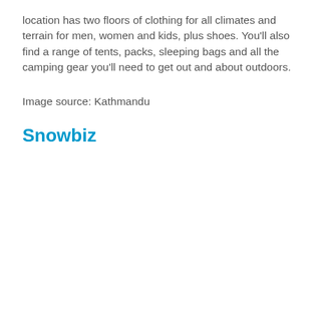location has two floors of clothing for all climates and terrain for men, women and kids, plus shoes. You'll also find a range of tents, packs, sleeping bags and all the camping gear you'll need to get out and about outdoors.
Image source: Kathmandu
Snowbiz